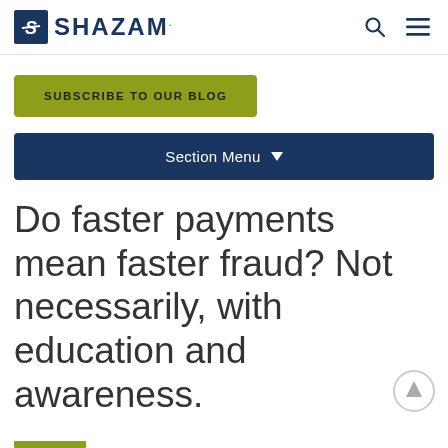SHAZAM
SUBSCRIBE TO OUR BLOG
Section Menu
Do faster payments mean faster fraud? Not necessarily, with education and awareness.